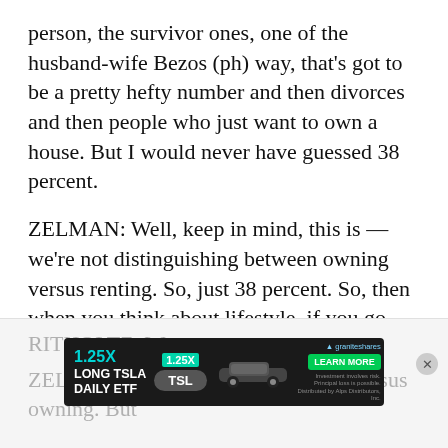person, the survivor ones, one of the husband-wife Bezos (ph) way, that's got to be a pretty hefty number and then divorces and then people who just want to own a house. But I would never have guessed 38 percent.
ZELMAN: Well, keep in mind, this is — we're not distinguishing between owning versus renting. So, just 38 percent. So, then when you think about lifestyle, if you go, Okay, then roommates, then they get married, then they have children, by the time our data shows — by the time you're married with two children, 82 percent live in a single-family home.
RITHOLTZ: Wow.
ZELMAN: ... distinguishing renting versus owning. But
[Figure (other): Advertisement banner for 1.25X Long TSLA Daily ETF (TSL) by GraniteShares with Learn More button and Tesla car image]